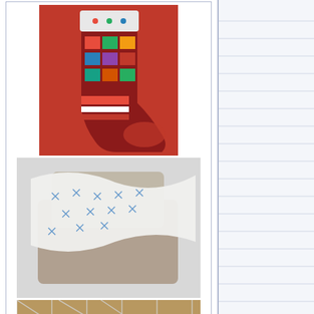[Figure (photo): Christmas stocking with colorful patchwork pattern on red background]
[Figure (photo): White fabric with blue cross-stitch pattern draped over a chair]
[Figure (photo): Dark fluffy bird (chicken) behind wire fence in a coop]
[Figure (photo): Dark chicken sitting in a wooden nesting box on eggs]
Who's Online
0 Registered (), 49 Guests and 9...